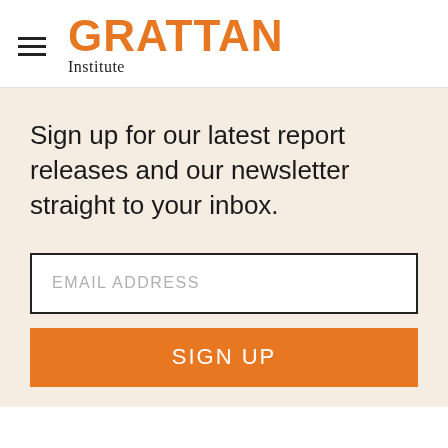[Figure (logo): Grattan Institute logo with hamburger menu icon, orange GRATTAN text in bold and Institute in serif below]
Sign up for our latest report releases and our newsletter straight to your inbox.
EMAIL ADDRESS
SIGN UP